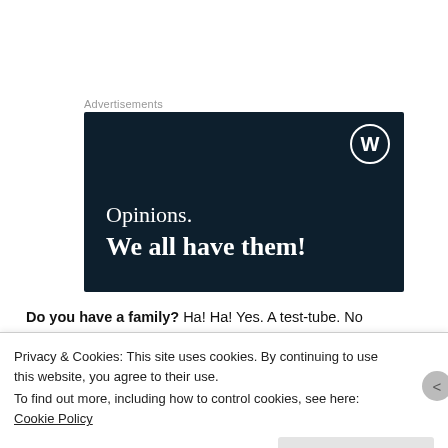Advertisements
[Figure (illustration): Dark navy blue advertisement banner with WordPress logo (circular W icon) in top right. Text reads 'Opinions. We all have them!' in white serif font — first line normal weight, second line bold.]
Do you have a family? Ha! Ha! Yes. A test-tube. No
Privacy & Cookies: This site uses cookies. By continuing to use this website, you agree to their use.
To find out more, including how to control cookies, see here: Cookie Policy
Close and accept